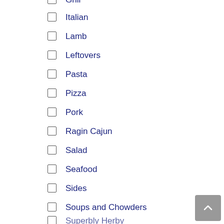Grill
Italian
Lamb
Leftovers
Pasta
Pizza
Pork
Ragin Cajun
Salad
Seafood
Sides
Soups and Chowders
Superbly Herby